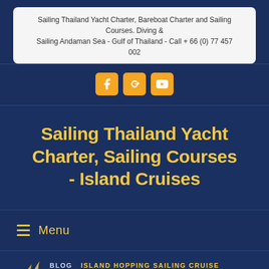Sailing Thailand Yacht Charter, Bareboat Charter and Sailing Courses. Diving & Sailing Andaman Sea - Gulf of Thailand - Call + 66 (0) 77 457 002
[Figure (logo): Social media icons: Facebook, Google+, YouTube in orange rounded squares]
Sailing Thailand Yacht Charter, Sailing Courses - Island Cruises
Menu
BLOG  ISLAND HOPPING SAILING CRUISE
[Figure (logo): Partial logo at bottom of page on dark navy background]